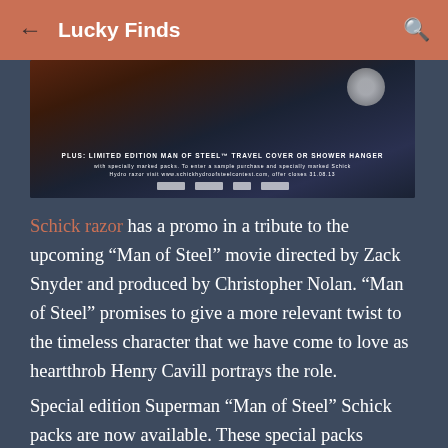Lucky Finds
[Figure (photo): Advertisement image for Man of Steel Schick razor promotion, showing dark themed promotional artwork with Superman imagery and text about limited edition Man of Steel travel cover or shower hanger with specially marked packs.]
Schick razor has a promo in a tribute to the upcoming “Man of Steel” movie directed by Zack Snyder and produced by Christopher Nolan. “Man of Steel” promises to give a more relevant twist to the timeless character that we have come to love as heartthrob Henry Cavill portrays the role.
Special edition Superman “Man of Steel” Schick packs are now available. These special packs